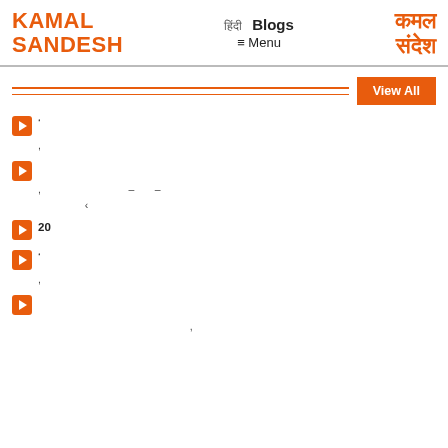KAMAL SANDESH | Blogs | Menu | कमल संदेश
View All
' ,
, – –:
20
' ,
,